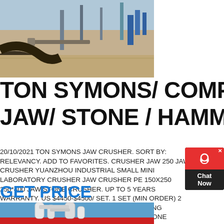[Figure (photo): Outdoor industrial/mining site with machinery and equipment on sandy ground, with blue sky and structures in background]
TON SYMONS/ COMPOUND CONE/ JAW/ STONE / HAMMER/ ROCK
20/10/2021 TON SYMONS JAW CRUSHER. SORT BY: RELEVANCY. ADD TO FAVORITES. CRUSHER JAW 250 JAW CRUSHER YUANZHOU INDUSTRIAL SMALL MINI LABORATORY CRUSHER JAW CRUSHER PE 150X250 250*400 JAW STONE CRUSHER. UP TO 5 YEARS WARRANTY. US $4450-$4500/ SET. 1 SET (MIN ORDER) 2 YRS JIANGYIN YUANZHOU MINING ENGINEERING MACHINERY CO., LTD.:::TON CHINA SYMONS CONE CRUSHER []
GET PRICE
[Figure (photo): Industrial equipment with white cylindrical pipes and machinery against a blue sky, with a red structure partially visible at the bottom]